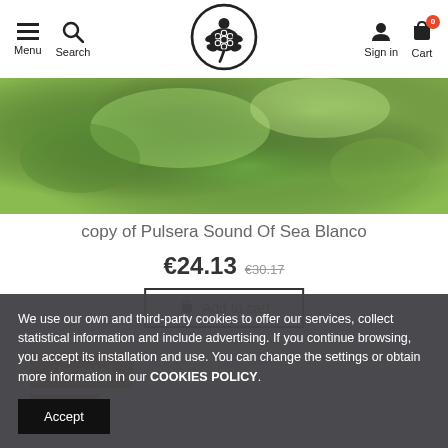Menu | Search | [Logo] | Sign in | Cart
[Figure (photo): Product photo showing green leafy background, partial view of a bracelet/wristband product]
copy of Pulsera Sound Of Sea Blanco
€24.13  €30.17 (strikethrough)
Add to cart
On sale!
-20%
We use our own and third-party cookies to offer our services, collect statistical information and include advertising. If you continue browsing, you accept its installation and use. You can change the settings or obtain more information in our COOKIES POLICY.
Accept